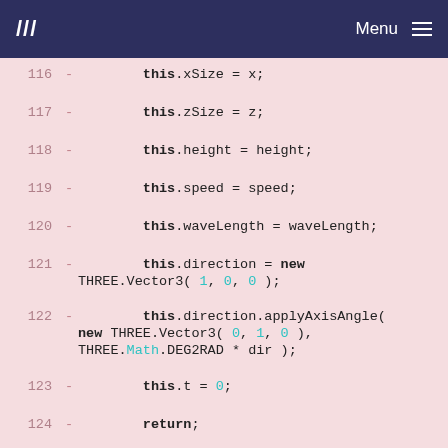/// Menu
[Figure (screenshot): Code diff view showing JavaScript class constructor and update method lines 116-131, with line numbers, minus diff markers, and syntax highlighting on pink background.]